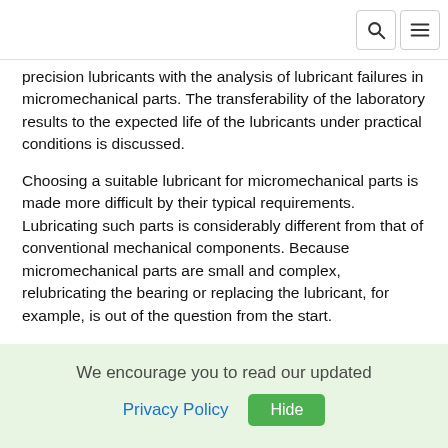[Search and Menu icons]
precision lubricants with the analysis of lubricant failures in micromechanical parts. The transferability of the laboratory results to the expected life of the lubricants under practical conditions is discussed.
Choosing a suitable lubricant for micromechanical parts is made more difficult by their typical requirements. Lubricating such parts is considerably different from that of conventional mechanical components. Because micromechanical parts are small and complex, relubricating the bearing or replacing the lubricant, for example, is out of the question from the start.
An important aspect for choosing a lubricant is the concept of for-life lubrication. In the case of micromechanical bearings, this means that the bearings are lubricated only one time during
We encourage you to read our updated Privacy Policy  Hide